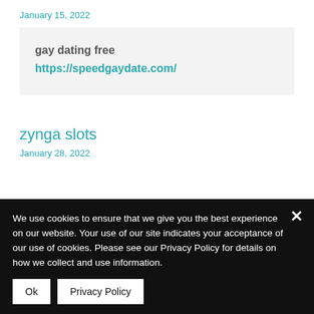January 15, 2022
gay dating free
https://speedgaydate.com/
zynga slots
January 28, 2022
We use cookies to ensure that we give you the best experience on our website. Your use of our site indicates your acceptance of our use of cookies. Please see our Privacy Policy for details on how we collect and use information.
Ok
Privacy Policy